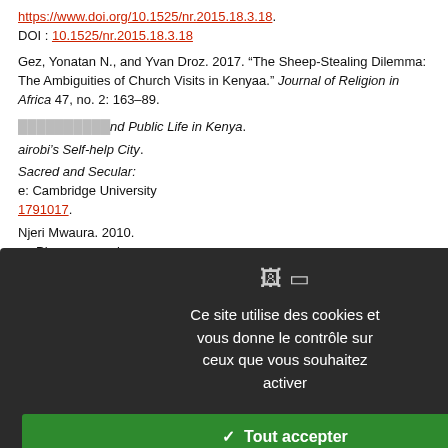https://www.doi.org/10.1525/nr.2015.18.3.18.
DOI : 10.1525/nr.2015.18.3.18
Gez, Yonatan N., and Yvan Droz. 2017. “The Sheep-Stealing Dilemma: The Ambiguities of Church Visits in Kenyaa.” Journal of Religion in Africa 47, no. 2: 163–89.
...and Public Life in Kenya.
...airobi’s Self-help City.
...Sacred and Secular: ...e: Cambridge University ...1791017.
...Njeri Mwaura. 2010. ...an Phenomenon in ...no. 2: 95–112.
...ooked the image of the New ...hereby Jesus’ miraculous
[Figure (screenshot): Cookie consent modal overlay with dark background. Contains icons, text in French: 'Ce site utilise des cookies et vous donne le contrôle sur ceux que vous souhaitez activer', a green 'Tout accepter' button, a red 'Tout refuser' button, a white 'Personnaliser' button, and a 'Politique de confidentialité' link.]